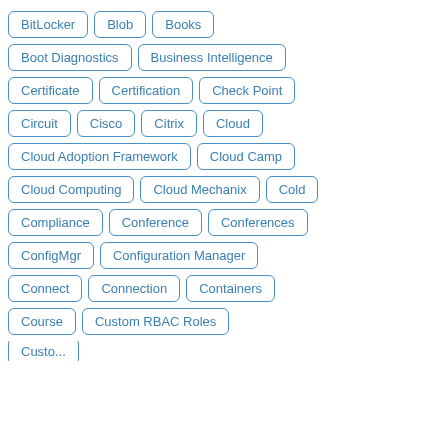BitLocker
Blob
Books
Boot Diagnostics
Business Intelligence
Certificate
Certification
Check Point
Circuit
Cisco
Citrix
Cloud
Cloud Adoption Framework
Cloud Camp
Cloud Computing
Cloud Mechanix
Cold
Compliance
Conference
Conferences
ConfigMgr
Configuration Manager
Connect
Connection
Containers
Course
Custom RBAC Roles
Custo...